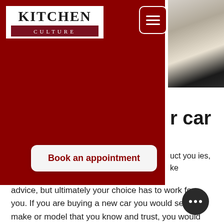[Figure (logo): Kitchen Culture logo: bold serif text 'KITCHEN' above dark red bar with 'CULTURE' in spaced white letters]
[Figure (screenshot): Mobile website screenshot showing Kitchen Culture brand page with red background, hamburger menu, Book an appointment button, and partial photo of kitchen interior on right side]
r car
uct you ies, ke advice, but ultimately your choice has to work for you. If you are buying a new car you would select a make or model that you know and trust, you would sit in it, open doors, check the boot capacity to see if you